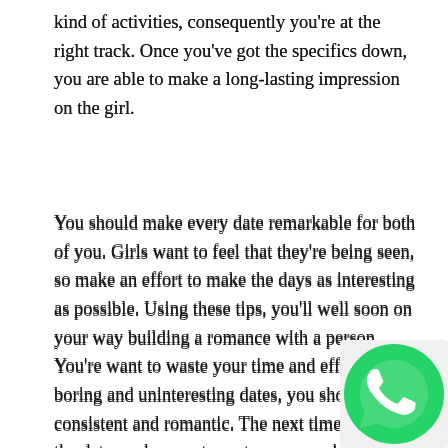kind of activities, consequently you're at the right track. Once you've got the specifics down, you are able to make a long-lasting impression on the girl.
You should make every date remarkable for both of you. Girls want to feel that they're being seen, so make an effort to make the days as interesting as possible. Using these tips, you'll well soon on your way building a romance with a person. You're want to waste your time and efforts on boring and uninteresting dates, you should be consistent and romantic. The next time you go on the date, make sure to system a remarkable one designed for the two of you.
Once talking to a woman, be mindful. Don't discuss too much. This can be a turnoff, so be careful. Rather, listen to what she says and respond with concerns. When a girl is speaking, she will be more likely to feel appreciated. When you're talking some guy who is too busy to focus on her, she will be more
[Figure (logo): WhatsApp logo icon — green circle with white phone/chat icon]